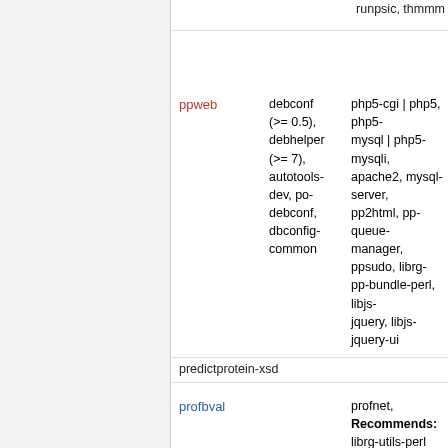runpsic, thmmm
| Package | Build-Depends | Depends |
| --- | --- | --- |
| ppweb | debconf (>= 0.5), debhelper (>= 7), autotools-dev, po-debconf, dbconfig-common | php5-cgi | php5, php5-mysql | php5-mysqli, apache2, mysql-server, pp2html, pp-queue-manager, ppsudo, librg-pp-bundle-perl, libjs-jquery, libjs-jquery-ui |
| predictprotein-xsd |  |  |
| profbval |  | profnet, Recommends: librg-utils-perl |
| profchop |  | hmmer2, profphd, profne-chop, librg-dudek-bundle-perl, librg-liu-bundle-perl |